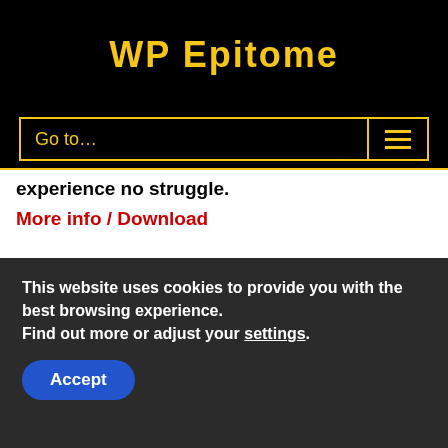WP Epitome
Go to...
experience no struggle.
More info / Download
This website uses cookies to provide you with the best browsing experience.
Find out more or adjust your settings.